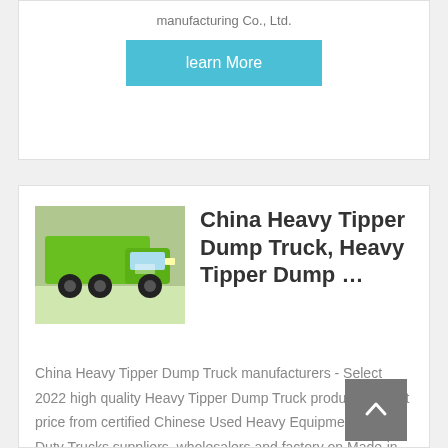manufacturing Co., Ltd.
learn More
[Figure (photo): Green heavy tipper dump truck parked near a building]
China Heavy Tipper Dump Truck, Heavy Tipper Dump …
China Heavy Tipper Dump Truck manufacturers - Select 2022 high quality Heavy Tipper Dump Truck products in best price from certified Chinese Used Heavy Equipment, Heavy Duty Trucks suppliers, wholesalers and factory on Made-in-China.com